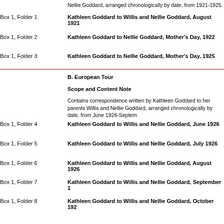Nellie Goddard, arranged chronologically by date, from 1921-1925.
Box 1, Folder 1    Kathleen Goddard to Willis and Nellie Goddard, August 1921
Box 1, Folder 2    Kathleen Goddard to Nellie Goddard, Mother's Day, 1922
Box 1, Folder 3    Kathleen Goddard to Nellie Goddard, Mother's Day, 1925
B. European Tour
Scope and Content Note
Contains correspondence written by Kathleen Goddard to her parents Willis and Nellie Goddard, arranged chronologically by date, from June 1926-September
Box 1, Folder 4    Kathleen Goddard to Willis and Nellie Goddard, June 1926
Box 1, Folder 5    Kathleen Goddard to Willis and Nellie Goddard, July 1926
Box 1, Folder 6    Kathleen Goddard to Willis and Nellie Goddard, August 1926
Box 1, Folder 7    Kathleen Goddard to Willis and Nellie Goddard, September 1
Box 1, Folder 8    Kathleen Goddard to Willis and Nellie Goddard, October 192